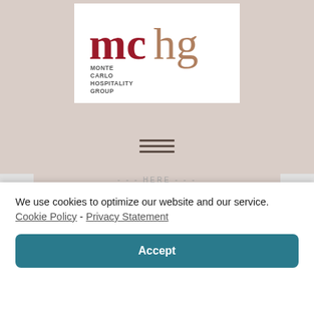[Figure (logo): Monte Carlo Hospitality Group logo — 'mc' in dark red bold serif and 'hg' in tan/gold serif, with 'MONTE CARLO HOSPITALITY GROUP' in small caps below 'mc', on a white background]
[Figure (other): Hamburger menu icon — three horizontal dark bars stacked]
We use cookies to optimize our website and our service.  Cookie Policy - Privacy Statement
Accept
CULTURE